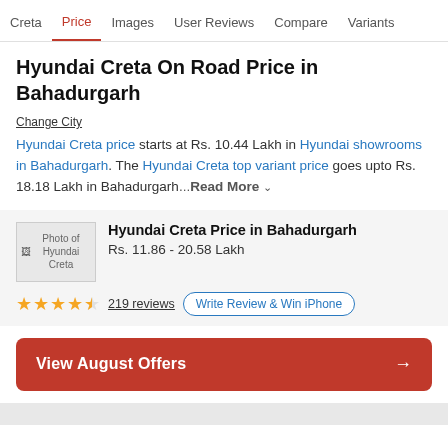Creta | Price | Images | User Reviews | Compare | Variants
Hyundai Creta On Road Price in Bahadurgarh
Change City
Hyundai Creta price starts at Rs. 10.44 Lakh in Hyundai showrooms in Bahadurgarh. The Hyundai Creta top variant price goes upto Rs. 18.18 Lakh in Bahadurgarh ...Read More
Hyundai Creta Price in Bahadurgarh
Rs. 11.86 - 20.58 Lakh
219 reviews  Write Review & Win iPhone
View August Offers →